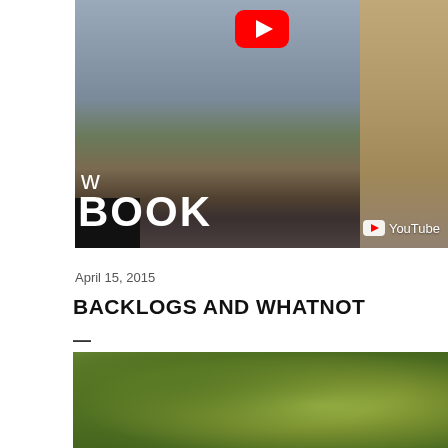[Figure (screenshot): YouTube video thumbnail showing a person in jeans and boots standing on a street, with text 'w BOOK' overlaid in white, YouTube play button at top, and YouTube watermark at bottom right.]
April 15, 2015
BACKLOGS AND WHATNOT
—
[Figure (photo): Photograph of a mossy green tree branch or trunk with foliage visible in background.]